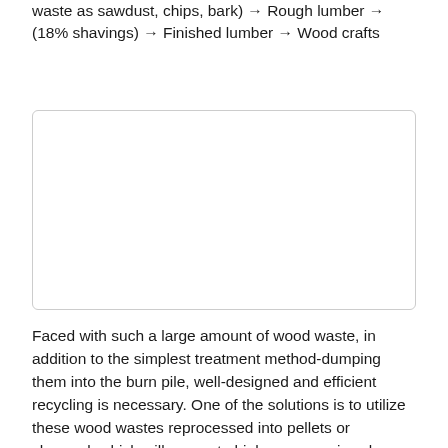waste as sawdust, chips, bark) → Rough lumber → (18% shavings) → Finished lumber → Wood crafts
[Figure (other): Empty figure/diagram box with rounded border (placeholder for a figure)]
Faced with such a large amount of wood waste, in addition to the simplest treatment method-dumping them into the burn pile, well-designed and efficient recycling is necessary. One of the solutions is to utilize these wood wastes reprocessed into pellets or charcoal, which will generate higher economic value.